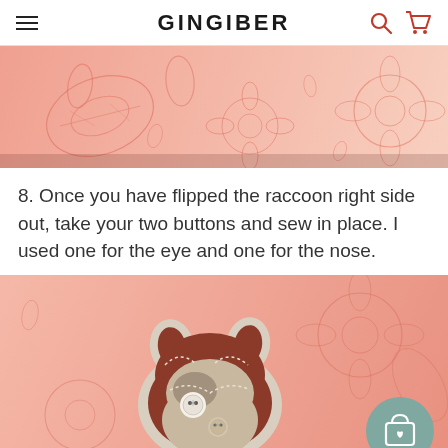GINGIBER
[Figure (photo): Close-up of pink floral fabric with line-drawn flower and leaf pattern in coral/red tones]
8. Once you have flipped the raccoon right side out, take your two buttons and sew in place. I used one for the eye and one for the nose.
[Figure (photo): Handmade felt raccoon stuffed animal with button eyes and nose, photographed on pink floral fabric background]